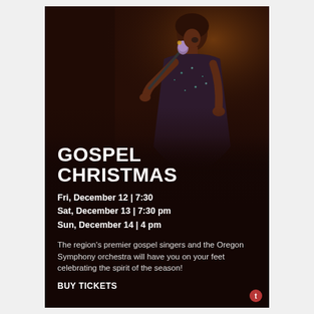[Figure (photo): A woman in a sequined dress singing passionately into a microphone on a dark stage]
GOSPEL CHRISTMAS
Fri, December 12 | 7:30
Sat, December 13 | 7:30 pm
Sun, December 14 | 4 pm
The region's premier gospel singers and the Oregon Symphony orchestra will have you on your feet celebrating the spirit of the season!
BUY TICKETS